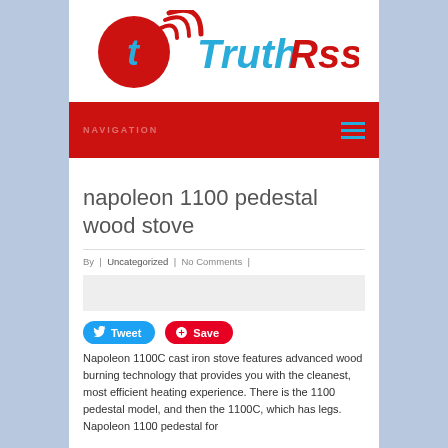[Figure (logo): TruthRss logo with red circle, letter t, wifi signal arcs, and TruthRss text in cyan and red]
NAVIGATION
napoleon 1100 pedestal wood stove
By | Uncategorized | No Comments |
[Figure (photo): Gray placeholder image area]
Napoleon 1100C cast iron stove features advanced wood burning technology that provides you with the cleanest, most efficient heating experience. There is the 1100 pedestal model, and then the 1100C, which has legs. Napoleon 1100 pedestal for